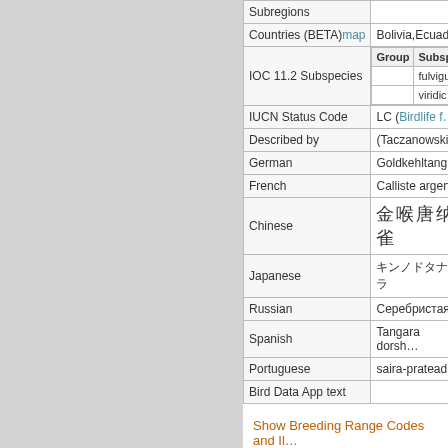| Field | Value |
| --- | --- |
| Subregions |  |
| Countries (BETA) map | Bolivia, Ecuador... |
| IOC 11.2 Subspecies | Group | Subsp
(blank) | fulvigu...
(blank) | viridic... |
| IUCN Status Code | LC (Birdlife f... |
| Described by | (Taczanowski... |
| German | Goldkehltang... |
| French | Calliste argen... |
| Chinese | □□□□□□ |
| Japanese | □□□□□□□□□□ |
| Russian | Серебристая... |
| Spanish | Tangara dorsh... |
| Portuguese | saira-pratead... |
| Bird Data App text |  |
Show Breeding Range Codes and Il...
|◄ first ◄◄ previous (Short-bill...